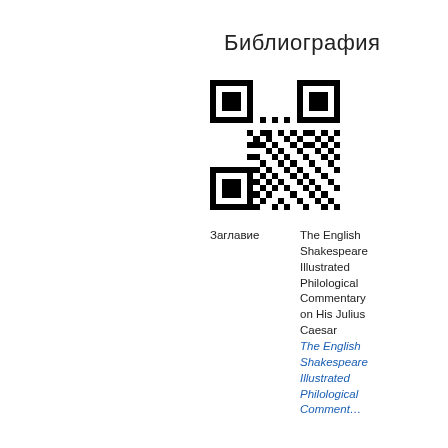Библиография
[Figure (other): QR code image linking to a bibliography entry]
Заглавие	The English Shakespeare Illustrated Philological Commentary on His Julius Caesar
The English Shakespeare Illustrated Philological Comment...